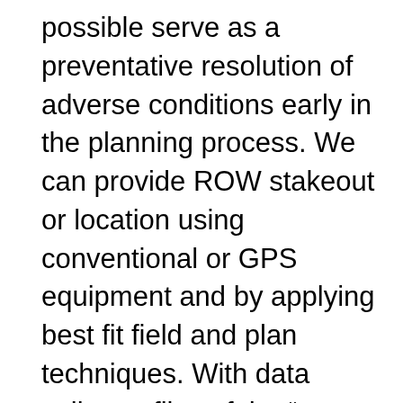possible serve as a preventative resolution of adverse conditions early in the planning process. We can provide ROW stakeout or location using conventional or GPS equipment and by applying best fit field and plan techniques. With data collector files of the “as staked” data, we can provide stakeout of structures and control points to the client’s marking specifications. All of the services mentioned can be provided according to state, county, city, and client specifications. This includes the research of state minimum standards, county and city zoning, and subdivision regulations. With our wide range of services, Mesa provides our customers with a full service resource for their surveying needs.